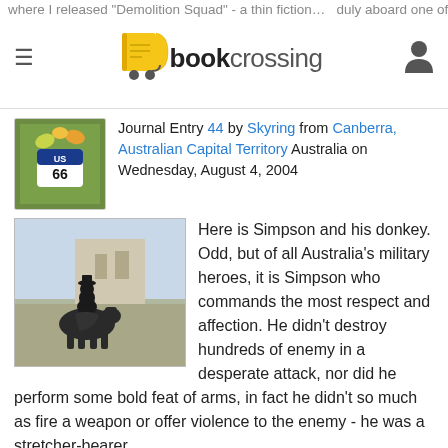where I released "Demolition Squad" - a thin fiction ... duly aboard one of the destroyers.
[Figure (logo): BookCrossing logo with open book icon and text 'bookcrossing']
Journal Entry 44 by Skyring from Canberra, Australian Capital Territory Australia on Wednesday, August 4, 2004
[Figure (photo): Photo of Simpson and his donkey statue outside a building]
Here is Simpson and his donkey. Odd, but of all Australia's military heroes, it is Simpson who commands the most respect and affection. He didn't destroy hundreds of enemy in a desperate attack, nor did he perform some bold feat of arms, in fact he didn't so much as fire a weapon or offer violence to the enemy - he was a stretcher-bearer.
A few hours after the landing at Gallipoli on 25 April 1915, Jack Simpson was bringing back a casualty from the front line slung over his